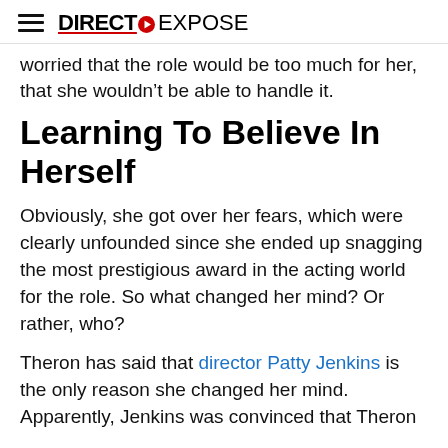DIRECT EXPOSE
worried that the role would be too much for her, that she wouldn't be able to handle it.
Learning To Believe In Herself
Obviously, she got over her fears, which were clearly unfounded since she ended up snagging the most prestigious award in the acting world for the role. So what changed her mind? Or rather, who?
Theron has said that director Patty Jenkins is the only reason she changed her mind. Apparently, Jenkins was convinced that Theron was the perfect fit for the role. In fact, she told